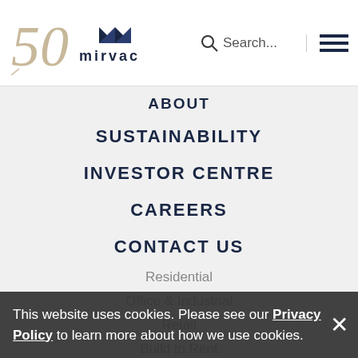[Figure (logo): Mirvac 50th anniversary logo with book icon and mirvac wordmark]
ABOUT
SUSTAINABILITY
INVESTOR CENTRE
CAREERS
CONTACT US
Residential
Office & Industrial
Retail
Build to Rent
Investor Relations
Corporate
Terms of Use
Privacy Policy
This website uses cookies. Please see our Privacy Policy to learn more about how we use cookies.